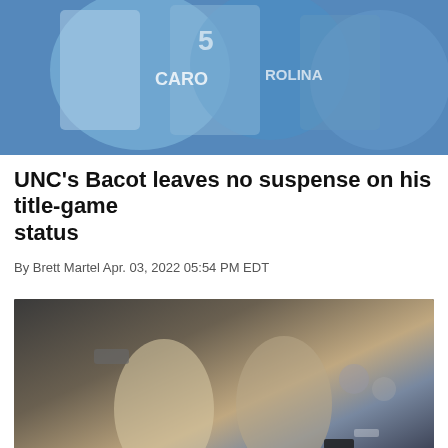[Figure (photo): Basketball players in light blue UNC Carolina jerseys huddled together on the court]
UNC's Bacot leaves no suspense on his title-game status
By Brett Martel Apr. 03, 2022 05:54 PM EDT
[Figure (photo): Two men in a basketball arena shaking hands and conversing, one wearing a gray cap and white shirt, the other in a black jacket with Michigan State logo]